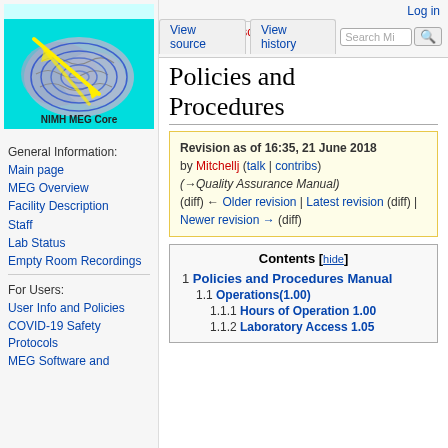[Figure (logo): NIMH MEG Core logo: brain with blue spiral lines and yellow arrows on cyan background]
General Information:
Main page
MEG Overview
Facility Description
Staff
Lab Status
Empty Room Recordings
For Users:
User Info and Policies
COVID-19 Safety Protocols
MEG Software and
Log in
Page | Discussion | View source | View history | Search MI 🔍
Policies and Procedures
Revision as of 16:35, 21 June 2018 by Mitchellj (talk | contribs) (→Quality Assurance Manual) (diff) ← Older revision | Latest revision (diff) | Newer revision → (diff)
| Contents [hide] |
| --- |
| 1 Policies and Procedures Manual |
| 1.1 Operations(1.00) |
| 1.1.1 Hours of Operation 1.00 |
| 1.1.2 Laboratory Access 1.05 |